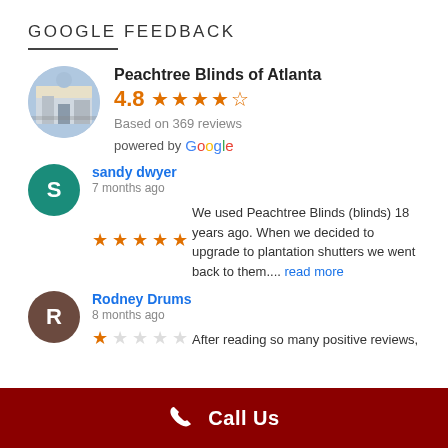GOOGLE FEEDBACK
[Figure (infographic): Google Reviews widget showing Peachtree Blinds of Atlanta with 4.8 stars based on 369 reviews, powered by Google, plus two customer reviews from sandy dwyer (5 stars) and Rodney Drums (1 star)]
powered by Google
sandy dwyer
7 months ago
We used Peachtree Blinds (blinds) 18 years ago. When we decided to upgrade to plantation shutters we went back to them.... read more
Rodney Drums
8 months ago
After reading so many positive reviews,
Call Us